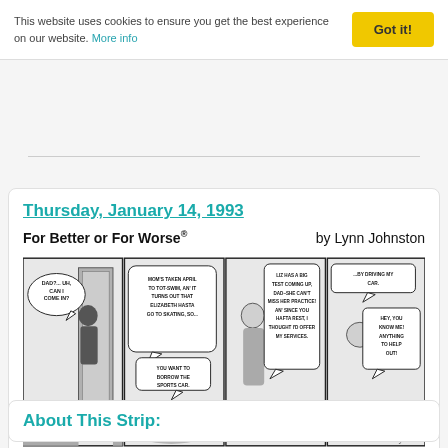This website uses cookies to ensure you get the best experience on our website. More info   Got it!
Thursday, January 14, 1993
For Better or For Worse® by Lynn Johnston
[Figure (illustration): Four-panel comic strip 'For Better or For Worse' by Lynn Johnston dated January 14, 1993. Panel 1: child at doorway saying 'DAD?... UH, CAN I COME IN?' Panel 2: speech bubble 'MOM'S TAKEN APRIL TO TOT-SWIM, AN' IT TURNS OUT THAT ELIZABETH HASTA GO TO SKATING, SO...' with another bubble 'YOU WANT TO BORROW THE SPORTS CAR.' Panel 3: 'LIZ HAS A BIG TEST COMING UP, DAD–SHE CAN'T MISS HER PRACTICE! AN' SINCE YOU HAFTA REST, I THOUGHT I'D OFFER MY SERVICES.' Panel 4: '...BY DRIVING MY CAR.' 'HEY, YOU KNOW ME! ANYTHING TO HELP OUT!']
About This Strip: